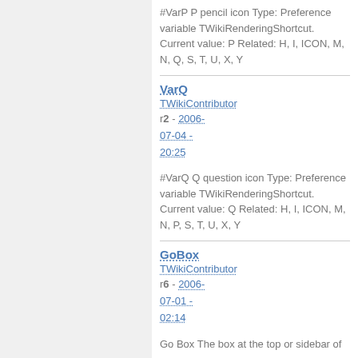#VarP P pencil icon Type: Preference variable TWikiRenderingShortcut. Current value: P Related: H, I, ICON, M, N, Q, S, T, U, X, Y
VarQ
TWikiContributor
r2 - 2006-07-04 - 20:25
#VarQ Q question icon Type: Preference variable TWikiRenderingShortcut. Current value: Q Related: H, I, ICON, M, N, P, S, T, U, X, Y
GoBox
TWikiContributor
r6 - 2006-07-01 - 02:14
Go Box The box at the top or sidebar of